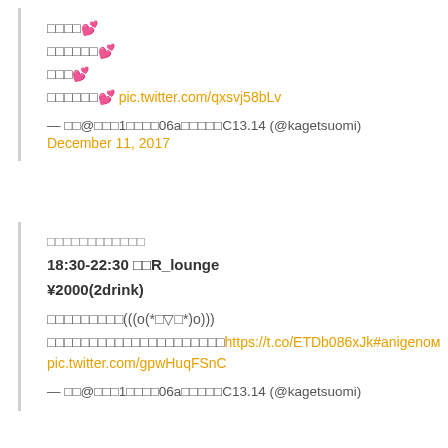□□□□💕
□□□□□□💕
□□□💕
□□□□□□💕 pic.twitter.com/qxsvj58bLv
— □□@□□□1□□□□06a□□□□□C13.14 (@kagetsuomi)
December 11, 2017
□□□□□□□□□□□□
18:30-22:30 □□R_lounge
¥2000(2drink)
□□□□□□□□□(((o(*□▽□*)o)))
□□□□□□□□□□□□□□□□□□□□□https://t.co/ETDb086xJk#anigenompic.twitter.com/gpwHuqFSnC
— □□@□□□1□□□□06a□□□□□C13.14 (@kagetsuomi)